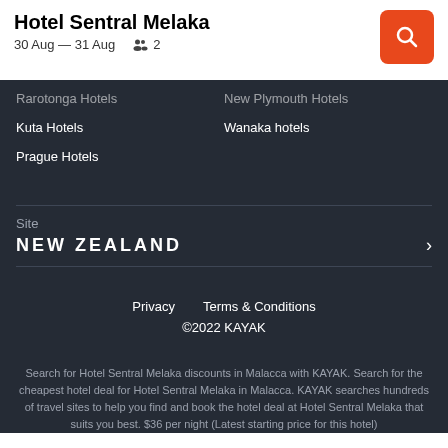Hotel Sentral Melaka
30 Aug — 31 Aug  2
Rarotonga Hotels
New Plymouth Hotels
Kuta Hotels
Wanaka hotels
Prague Hotels
Site
NEW ZEALAND
Privacy   Terms & Conditions
©2022 KAYAK
Search for Hotel Sentral Melaka discounts in Malacca with KAYAK. Search for the cheapest hotel deal for Hotel Sentral Melaka in Malacca. KAYAK searches hundreds of travel sites to help you find and book the hotel deal at Hotel Sentral Melaka that suits you best. $36 per night (Latest starting price for this hotel)